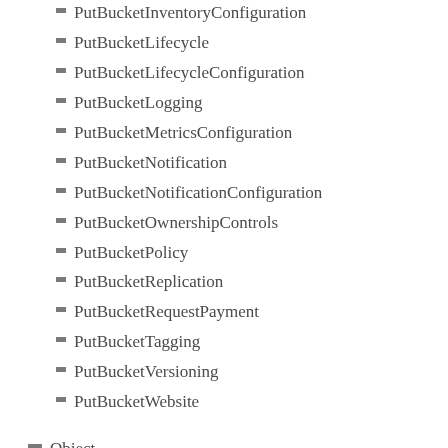PutBucketInventoryConfiguration
PutBucketLifecycle
PutBucketLifecycleConfiguration
PutBucketLogging
PutBucketMetricsConfiguration
PutBucketNotification
PutBucketNotificationConfiguration
PutBucketOwnershipControls
PutBucketPolicy
PutBucketReplication
PutBucketRequestPayment
PutBucketTagging
PutBucketVersioning
PutBucketWebsite
Object
CopyObject
DeleteObject